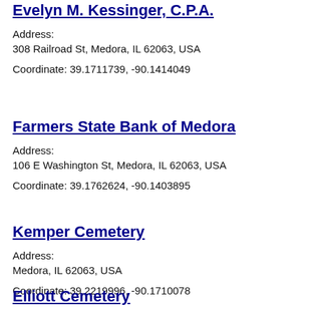Evelyn M. Kessinger, C.P.A.
Address:
308 Railroad St, Medora, IL 62063, USA
Coordinate: 39.1711739, -90.1414049
Farmers State Bank of Medora
Address:
106 E Washington St, Medora, IL 62063, USA
Coordinate: 39.1762624, -90.1403895
Kemper Cemetery
Address:
Medora, IL 62063, USA
Coordinate: 39.2219996, -90.1710078
Elliott Cemetery